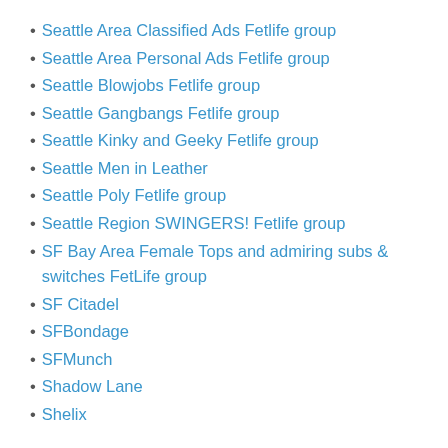Seattle Area Classified Ads Fetlife group
Seattle Area Personal Ads Fetlife group
Seattle Blowjobs Fetlife group
Seattle Gangbangs Fetlife group
Seattle Kinky and Geeky Fetlife group
Seattle Men in Leather
Seattle Poly Fetlife group
Seattle Region SWINGERS! Fetlife group
SF Bay Area Female Tops and admiring subs & switches FetLife group
SF Citadel
SFBondage
SFMunch
Shadow Lane
Shelix